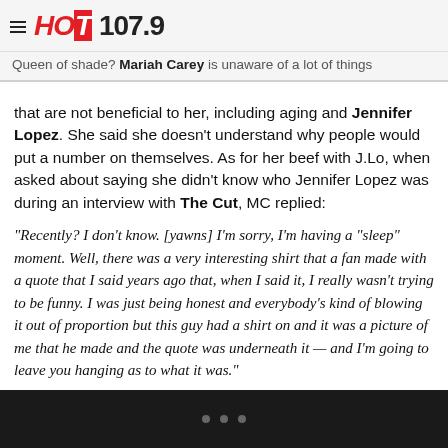HOT 107.9
Queen of shade? Mariah Carey is unaware of a lot of things that are not beneficial to her, including aging and Jennifer Lopez. She said she doesn't understand why people would put a number on themselves. As for her beef with J.Lo, when asked about saying she didn't know who Jennifer Lopez was during an interview with The Cut, MC replied:
“Recently? I don’t know. [yawns] I’m sorry, I’m having a “sleep” moment. Well, there was a very interesting shirt that a fan made with a quote that I said years ago that, when I said it, I really wasn’t trying to be funny. I was just being honest and everybody’s kind of blowing it out of proportion but this guy had a shirt on and it was a picture of me that he made and the quote was underneath it — and I’m going to leave you hanging as to what it was.”